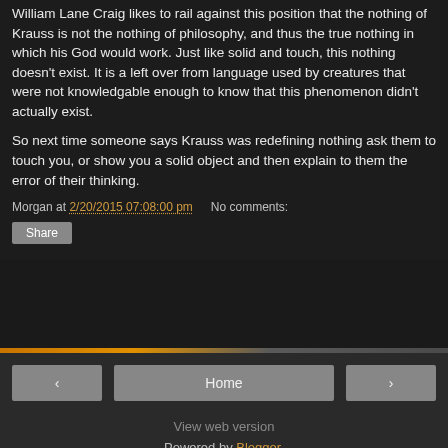William Lane Craig likes to rail against this position that the nothing of Krauss is not the nothing of philosophy, and thus the true nothing in which his God would work. Just like solid and touch, this nothing doesn't exist. It is a left over from language used by creatures that were not knowledgable enough to know that this phenomenon didn't actually exist.
So next time someone says Krauss was redefining nothing ask them to touch you, or show you a solid object and then explain to them the error of their thinking.
Morgan at 2/20/2015 07:08:00 pm   No comments:
Share
Home   View web version   Powered by Blogger.